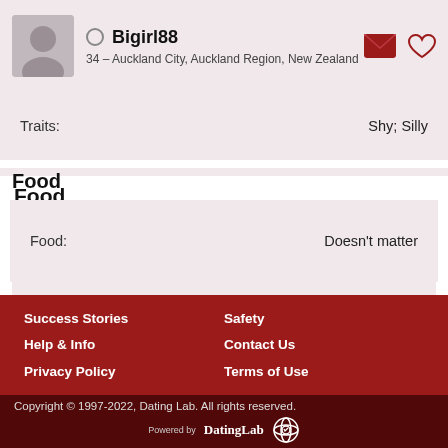Bigirl88 — 34 – Auckland City, Auckland Region, New Zealand
| Field | Value |
| --- | --- |
| Traits: | Shy; Silly |
| Food: | Doesn't matter |
Food
Success Stories | Safety | Help & Info | Contact Us | Privacy Policy | Terms of Use | Copyright © 1997-2022, Dating Lab. All rights reserved.